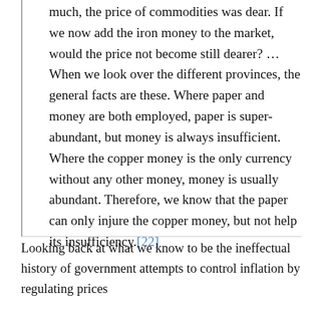much, the price of commodities was dear. If we now add the iron money to the market, would the price not become still dearer? … When we look over the different provinces, the general facts are these. Where paper and money are both employed, paper is super-abundant, but money is always insufficient. Where the copper money is the only currency without any other money, money is usually abundant. Therefore, we know that the paper can only injure the copper money, but not help its insufficiency.[22]
Looking back at what we know to be the ineffectual history of government attempts to control inflation by regulating prices